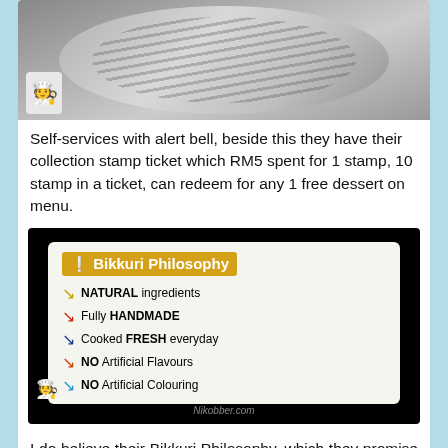[Figure (photo): Photo of a metallic circular object (bell) on a grey surface, with a small avatar/character in the bottom left corner]
Self-services with alert bell, beside this they have their collection stamp ticket which RM5 spent for 1 stamp, 10 stamp in a ticket, can redeem for any 1 free dessert on menu.
[Figure (photo): Photo of a Bikkuri Philosophy sign listing: NATURAL ingredients, Fully HANDMADE, Cooked FRESH everyday, NO Artificial Flavours, NO Artificial Colouring]
I do believe their Bikkuri Philosophy, which they promise on Natural ingredients, Fully handmade, Fresh cooked everyday, No artificial Flavours, No artificial Coloring.